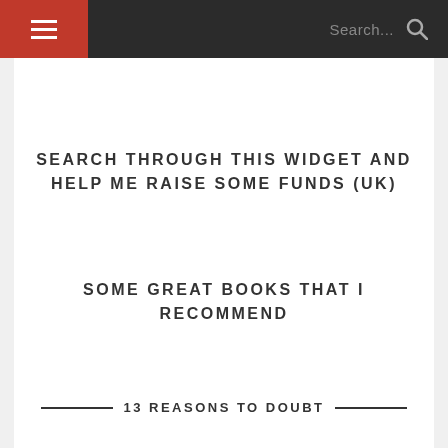☰  Search...
SEARCH THROUGH THIS WIDGET AND HELP ME RAISE SOME FUNDS (UK)
SOME GREAT BOOKS THAT I RECOMMEND
13 REASONS TO DOUBT